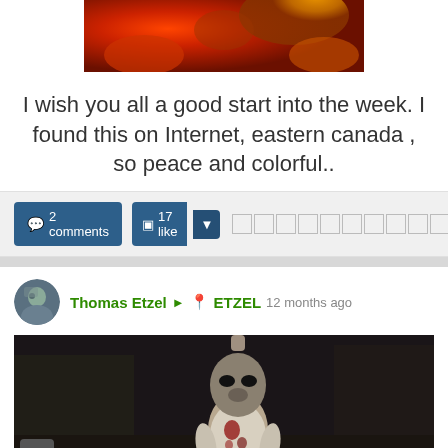[Figure (photo): Partial view of a colorful autumn foliage image in orange, red, and yellow tones]
I wish you all a good start into the week. I found this on Internet, eastern canada , so peace and colorful..
2 comments  ☐ 17 like
Thomas Etzel ▶ 📍 ETZEL  12 months ago
[Figure (screenshot): Dark screenshot of a video game showing an alien or zombie-like humanoid figure with a beak-like face, wearing a tattered white shirt with blood stains, in a dark environment]